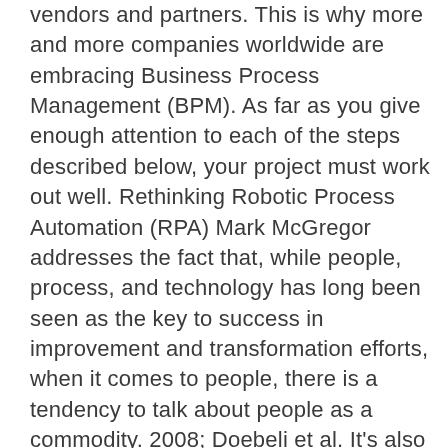vendors and partners. This is why more and more companies worldwide are embracing Business Process Management (BPM). As far as you give enough attention to each of the steps described below, your project must work out well. Rethinking Robotic Process Automation (RPA) Mark McGregor addresses the fact that, while people, process, and technology has long been seen as the key to success in improvement and transformation efforts, when it comes to people, there is a tendency to talk about people as a commodity. 2008; Doebeli et al. It's also not a good fit if you'll be performing small transactions at frequent intervals because of blockchain's slowness and data storage costs caused by the exponentially growing amount of data added to the blockchain with each transaction. Quality management whether it follows ISO 9001, EFQM or industry-specific standards, is essential in the majority of companies nowadays. Challenges Implementing BPM Blockchain And How to Address Them. Many businesses and